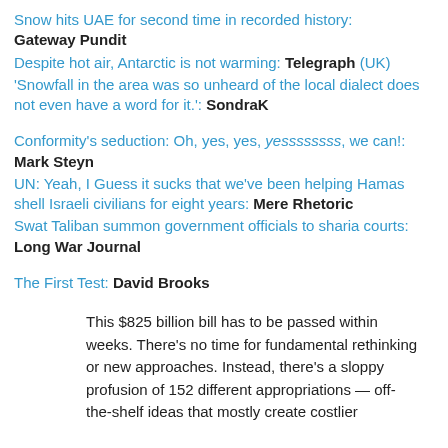Snow hits UAE for second time in recorded history: Gateway Pundit
Despite hot air, Antarctic is not warming: Telegraph (UK)
'Snowfall in the area was so unheard of the local dialect does not even have a word for it.': SondraK
Conformity's seduction: Oh, yes, yes, yessssssss, we can!: Mark Steyn
UN: Yeah, I Guess it sucks that we've been helping Hamas shell Israeli civilians for eight years: Mere Rhetoric
Swat Taliban summon government officials to sharia courts: Long War Journal
The First Test: David Brooks
This $825 billion bill has to be passed within weeks. There's no time for fundamental rethinking or new approaches. Instead, there's a sloppy profusion of 152 different appropriations — off-the-shelf ideas that mostly create costlier versions of the same programs.